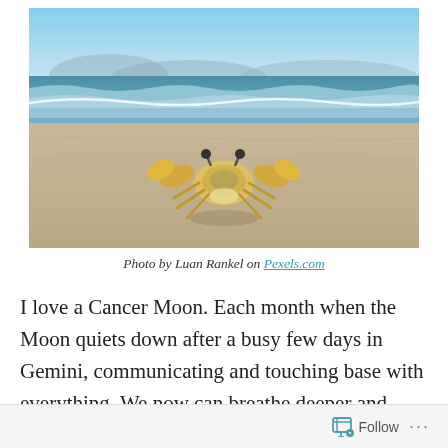[Figure (photo): A crab on a sandy beach with ocean waves in the background, blue sky above.]
Photo by Luan Rankel on Pexels.com
I love a Cancer Moon. Each month when the Moon quiets down after a busy few days in Gemini, communicating and touching base with everything. We now can breathe deeper and look into what we need on a personal level. The crab is a cautious creature , eyes up sensing everything around her,
Follow ...